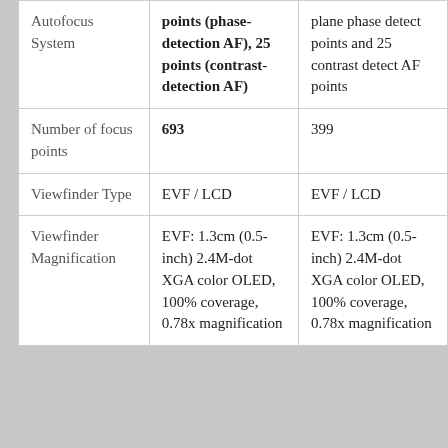| Feature | Camera 1 | Camera 2 |
| --- | --- | --- |
| Autofocus System | points (phase-detection AF), 25 points (contrast-detection AF) | plane phase detect points and 25 contrast detect AF points |
| Number of focus points | 693 | 399 |
| Viewfinder Type | EVF / LCD | EVF / LCD |
| Viewfinder Magnification | EVF: 1.3cm (0.5-inch) 2.4M-dot XGA color OLED, 100% coverage, 0.78x magnification | EVF: 1.3cm (0.5-inch) 2.4M-dot XGA color OLED, 100% coverage, 0.78x magnification |